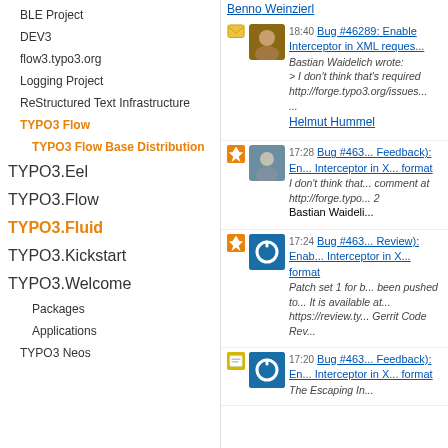BLE Project
DEV3
flow3.typo3.org
Logging Project
ReStructured Text Infrastructure
TYPO3 Flow
TYPO3 Flow Base Distribution
TYPO3.Eel
TYPO3.Flow
TYPO3.Fluid
TYPO3.Kickstart
TYPO3.Welcome
Packages
Applications
TYPO3 Neos
Benno Weinzierl
18:40 Bug #46289: Enable Interceptor in XML reques... Bastian Waidelich wrote: > I don't think that's required http://forge.typo3.org/issues... Helmut Hummel
17:28 Bug #463... Feedback): En... Interceptor in ... format I don't think that... comment at http://forge.typo... 2 Bastian Waideli...
17:24 Bug #463... Review): Enab... Interceptor in ... format Patch set 1 for b... been pushed to... It is available at... https://review.ty... Gerrit Code Rev...
17:20 Bug #463... Feedback): En... Interceptor in ... format The Escaping In...